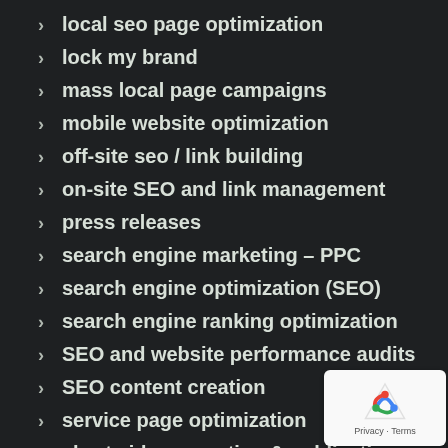local seo page optimization
lock my brand
mass local page campaigns
mobile website optimization
off-site seo / link building
on-site SEO and link management
press releases
search engine marketing – PPC
search engine optimization (SEO)
search engine ranking optimization
SEO and website performance audits
SEO content creation
service page optimization
short videos creation & publication
social media management & optimization
social media marketing